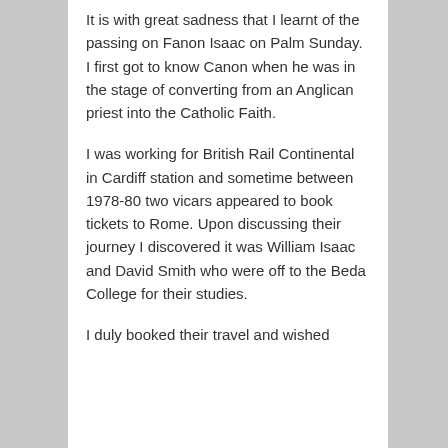It is with great sadness that I learnt of the passing on Fanon Isaac on Palm Sunday. I first got to know Canon when he was in the stage of converting from an Anglican priest into the Catholic Faith.
I was working for British Rail Continental in Cardiff station and sometime between 1978-80 two vicars appeared to book tickets to Rome. Upon discussing their journey I discovered it was William Isaac and David Smith who were off to the Beda College for their studies.
I duly booked their travel and wished